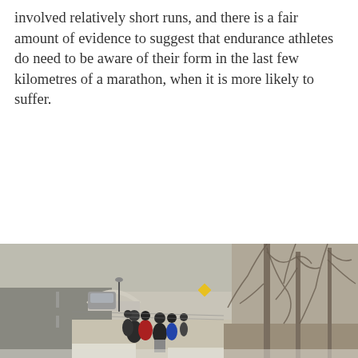involved relatively short runs, and there is a fair amount of evidence to suggest that endurance athletes do need to be aware of their form in the last few kilometres of a marathon, when it is more likely to suffer.
[Figure (photo): A group of runners in winter clothing running along a sidewalk beside a road. Bare trees line the right side, and an arched bridge is visible in the background. Snow is on the ground.]